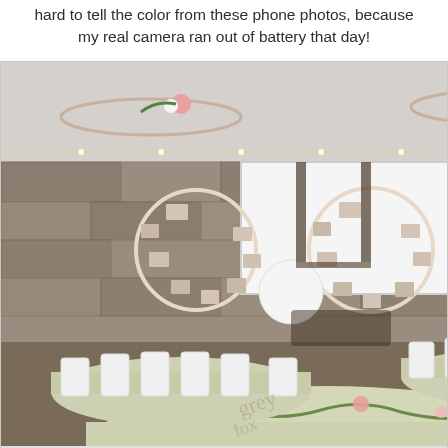hard to tell the color from these phone photos, because my real camera ran out of battery that day!
[Figure (photo): Interior of a decorated event venue/reception hall with round tables covered in light green/sage tablecloths, white folding chairs, floral hoop decorations hanging from the ceiling with pink and white flowers and greenery, string lights, a stone wall backdrop, a projection screen, circular photo displays hanging from the ceiling, and a sweetheart table setup in the background.]